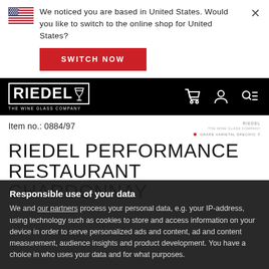We noticed you are based in United States. Would you like to switch to the online shop for United States?
SWITCH NOW
[Figure (logo): Riedel - The Wine Glass Company logo in white on black background, with cart, user, and search/menu icons]
Item no.: 0884/97
RIEDEL PERFORMANCE RESTAURANT CHARDONNAY
Responsible use of your data
We and our partners process your personal data, e.g. your IP-address, using technology such as cookies to store and access information on your device in order to serve personalized ads and content, ad and content measurement, audience insights and product development. You have a choice in who uses your data and for what purposes.